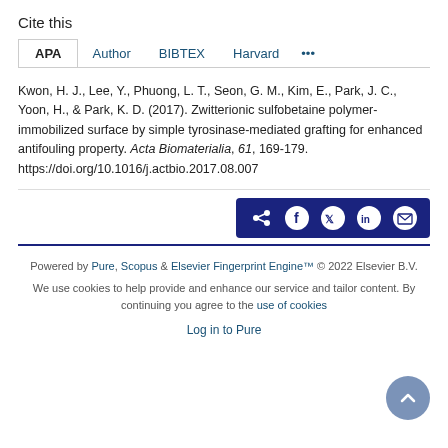Cite this
APA  Author  BIBTEX  Harvard  ...
Kwon, H. J., Lee, Y., Phuong, L. T., Seon, G. M., Kim, E., Park, J. C., Yoon, H., & Park, K. D. (2017). Zwitterionic sulfobetaine polymer-immobilized surface by simple tyrosinase-mediated grafting for enhanced antifouling property. Acta Biomaterialia, 61, 169-179. https://doi.org/10.1016/j.actbio.2017.08.007
[Figure (other): Social share bar with icons for share, Facebook, Twitter, LinkedIn, Email on dark blue background]
Powered by Pure, Scopus & Elsevier Fingerprint Engine™ © 2022 Elsevier B.V.
We use cookies to help provide and enhance our service and tailor content. By continuing you agree to the use of cookies
Log in to Pure